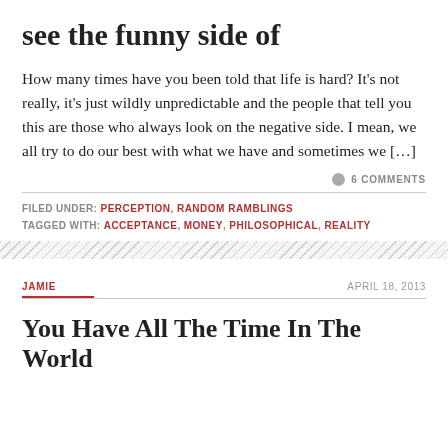see the funny side of
How many times have you been told that life is hard? It’s not really, it’s just wildly unpredictable and the people that tell you this are those who always look on the negative side. I mean, we all try to do our best with what we have and sometimes we […]
6 COMMENTS
FILED UNDER: PERCEPTION, RANDOM RAMBLINGS
TAGGED WITH: ACCEPTANCE, MONEY, PHILOSOPHICAL, REALITY
JAMIE
APRIL 18, 2013
You Have All The Time In The World